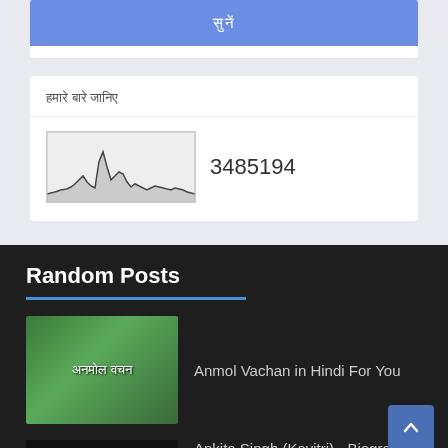[Figure (screenshot): Blue button with Hindi text (सुनें)]
हमारे बारे जानिए
[Figure (continuous-plot): Web traffic/analytics sparkline graph showing visitor counts with peaks]
3485194
Random Posts
[Figure (photo): Green nature background with Hindi text अनमोल वचन]
Anmol Vachan in Hindi For You
[Figure (photo): Dark photo showing a woman with Hindi text overlay]
Ankita Singh (Kavitri) - Biography, Unknown Facts and Features